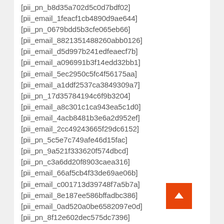[pii_pn_b8d35a702d5c0d7bdf02]
[pii_email_1feacf1cb4890d9ae644]
[pii_pn_0679bdd5b3cfe065eb66]
[pii_email_8821351488260abb0126]
[pii_email_d5d997b241edfeaecf7b]
[pii_email_a096991b3f14edd32bb1]
[pii_email_5ec2950c5fc4f56175aa]
[pii_email_a1ddf2537ca3849309a7]
[pii_pn_17d35784194c6f9b3204]
[pii_email_a8c301c1ca943ea5c1d0]
[pii_email_4acb8481b3e6a2d952ef]
[pii_email_2cc49243665f29dc6152]
[pii_pn_5c5e7c749afe46d15fac]
[pii_pn_9a521f333620f574dbcd]
[pii_pn_c3a6dd20f8903caea316]
[pii_email_66af5cb4f33de69ae06b]
[pii_email_c001713d39748f7a5b7a]
[pii_email_8e187ee586bffadbc386]
[pii_email_0ad520a0be6582097e0d]
[pii_pn_8f12e602dec575dc7396]
[pii_email_5b6928fec1e97e1ec120]